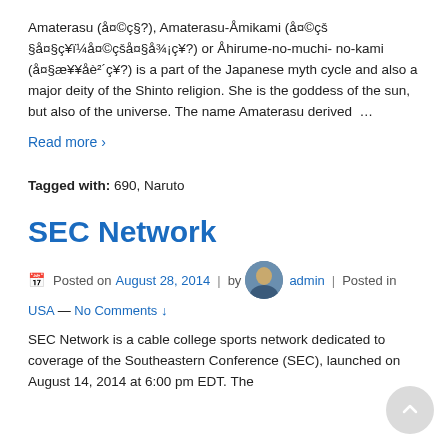Amaterasu (å¤©ç§?), Amaterasu-Åmikami (å¤©çšå¤§ç¥ï¼å¤©çšå¤§å¾¡ç¥?) or Åhirume-no-muchi-no-kami (å¤§æ¥¥åè²´ç¥?) is a part of the Japanese myth cycle and also a major deity of the Shinto religion. She is the goddess of the sun, but also of the universe. The name Amaterasu derived …
Read more ›
Tagged with: 690, Naruto
SEC Network
Posted on August 28, 2014 | by admin | Posted in USA — No Comments ↓
SEC Network is a cable college sports network dedicated to coverage of the Southeastern Conference (SEC), launched on August 14, 2014 at 6:00 pm EDT. The